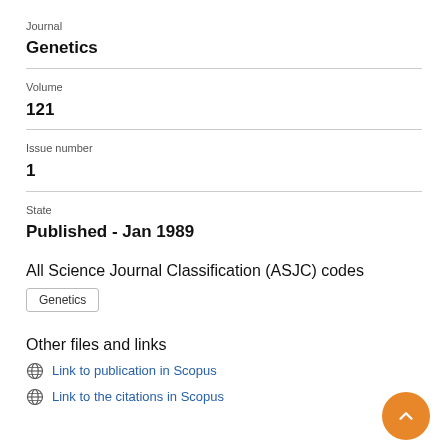Journal
Genetics
Volume
121
Issue number
1
State
Published - Jan 1989
All Science Journal Classification (ASJC) codes
Genetics
Other files and links
Link to publication in Scopus
Link to the citations in Scopus